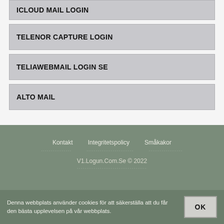ICLOUD MAIL LOGIN
TELENOR CAPTURE LOGIN
TELIAWEBMAIL LOGIN SE
ALTO MAIL
Kontakt   Integritetspolicy   Småkakor
V1.Logun.Com.Se © 2022
Denna webbplats använder cookies för att säkerställa att du får den bästa upplevelsen på vår webbplats.